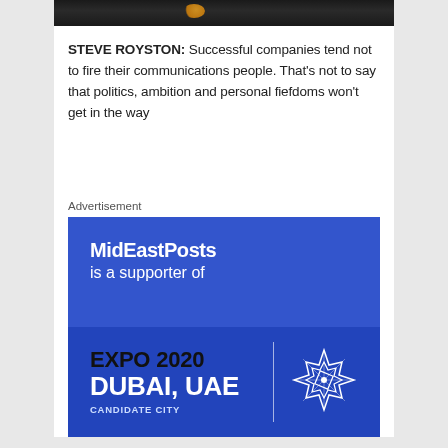[Figure (photo): Top partial image strip showing dark background with a golden/orange spherical object visible]
STEVE ROYSTON: Successful companies tend not to fire their communications people. That's not to say that politics, ambition and personal fiefdoms won't get in the way
Advertisement
[Figure (infographic): Blue advertisement banner for MidEastPosts supporting Expo 2020 Dubai UAE Candidate City, with geometric star logo]